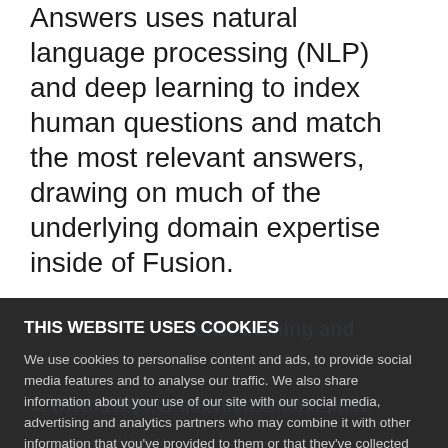Answers uses natural language processing (NLP) and deep learning to index human questions and match the most relevant answers, drawing on much of the underlying domain expertise inside of Fusion.
THIS WEBSITE USES COOKIES
We use cookies to personalise content and ads, to provide social media features and to analyse our traffic. We also share information about your use of our site with our social media, advertising and analytics partners who may combine it with other information that you've provided to them or that they've collected from your use of their services. You consent to our cookies if you continue to use our website.
OK